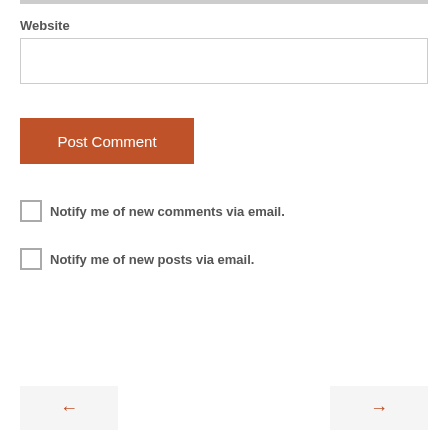Website
[Figure (screenshot): Website input text field (empty)]
[Figure (screenshot): Post Comment button (orange/brown background, white text)]
Notify me of new comments via email.
Notify me of new posts via email.
[Figure (screenshot): Left navigation arrow button]
[Figure (screenshot): Right navigation arrow button]